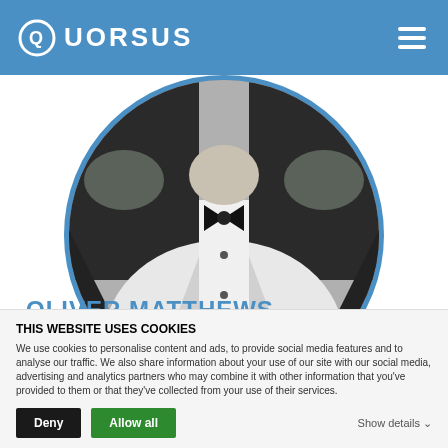QUORSUS
[Figure (photo): Black and white circular profile photo of a person wearing a tuxedo with bow tie]
OLIVER MATTHEWS
Business Solutions
THIS WEBSITE USES COOKIES
We use cookies to personalise content and ads, to provide social media features and to analyse our traffic. We also share information about your use of our site with our social media, advertising and analytics partners who may combine it with other information that you've provided to them or that they've collected from your use of their services.
Deny | Allow all | Show details